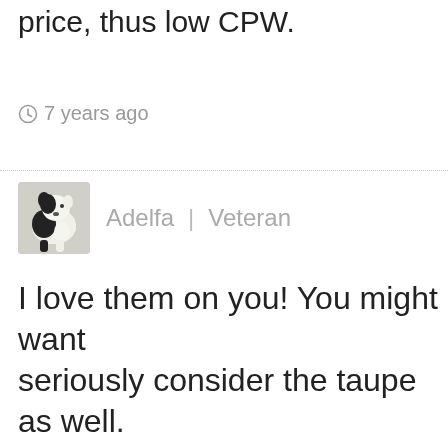it. Great shoes are always worth the price, thus low CPW.
⊙ 7 years ago
Adelfa | Veteran
[Figure (photo): Avatar image of a black and white dog]
I love them on you! You might want seriously consider the taupe as well. Last summer I got the Okalas in both black and taupe and used them both for very different things.